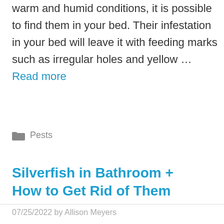warm and humid conditions, it is possible to find them in your bed. Their infestation in your bed will leave it with feeding marks such as irregular holes and yellow … Read more
Pests
Silverfish in Bathroom + How to Get Rid of Them
07/25/2022 by Allison Meyers